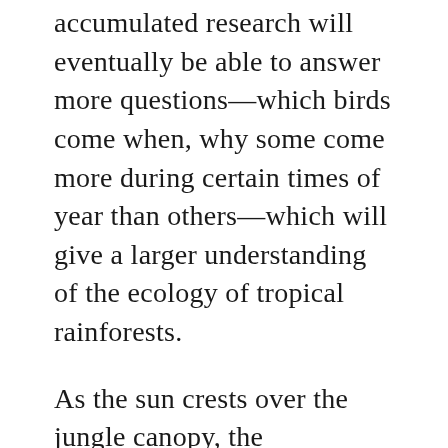accumulated research will eventually be able to answer more questions—which birds come when, why some come more during certain times of year than others—which will give a larger understanding of the ecology of tropical rainforests.
As the sun crests over the jungle canopy, the